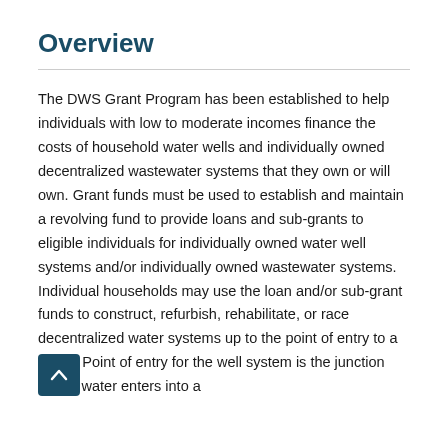Overview
The DWS Grant Program has been established to help individuals with low to moderate incomes finance the costs of household water wells and individually owned decentralized wastewater systems that they own or will own. Grant funds must be used to establish and maintain a revolving fund to provide loans and sub-grants to eligible individuals for individually owned water well systems and/or individually owned wastewater systems. Individual households may use the loan and/or sub-grant funds to construct, refurbish, rehabilitate, or replace decentralized water systems up to the point of entry to a home. Point of entry for the well system is the junction where water enters into a